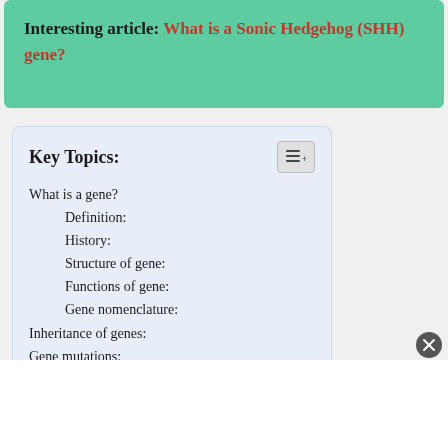Interesting article: What is a Sonic Hedgehog (SHH) gene?
Key Topics:
What is a gene?
Definition:
History:
Structure of gene:
Functions of gene:
Gene nomenclature:
Inheritance of genes:
Gene mutations:
Gene therapy: